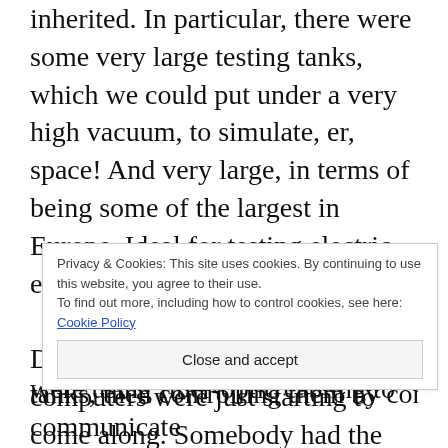inherited. In particular, there were some very large testing tanks, which we could put under a very high vacuum, to simulate, er, space! And very large, in terms of being some of the largest in Europe. Ideal for testing electric engines!
During my time, personal computers were just starting to come along. Somebody had the bright idea of putting several probes into one of these tanks, then controlling them by computer. Of
Privacy & Cookies: This site uses cookies. By continuing to use this website, you agree to their use.
To find out more, including how to control cookies, see here: Cookie Policy
Close and accept
were using fiber-optic cabling to communicate